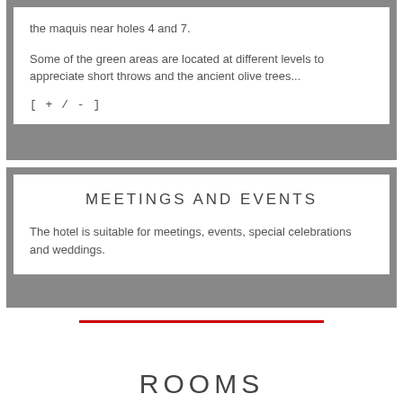the maquis near holes 4 and 7.
Some of the green areas are located at different levels to appreciate short throws and the ancient olive trees...
[ + / - ]
MEETINGS AND EVENTS
The hotel is suitable for meetings, events, special celebrations and weddings.
ROOMS